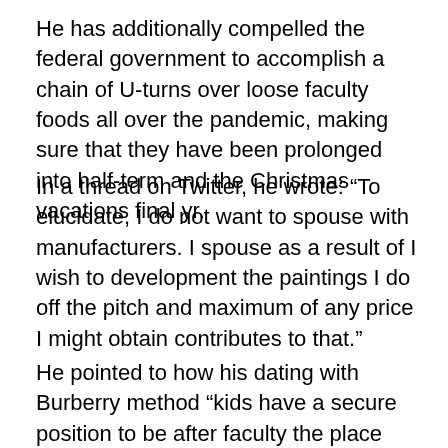He has additionally compelled the federal government to accomplish a chain of U-turns over loose faculty foods all over the pandemic, making sure that they have been prolonged into half-term and the Christmas vacations final yr.
In a thread on Twitter, he wrote: “To elucidate, I do not want to spouse with manufacturers. I spouse as a result of I wish to development the paintings I do off the pitch and maximum of any price I might obtain contributes to that.”
He pointed to how his dating with Burberry method “kids have a secure position to be after faculty the place they are going to be